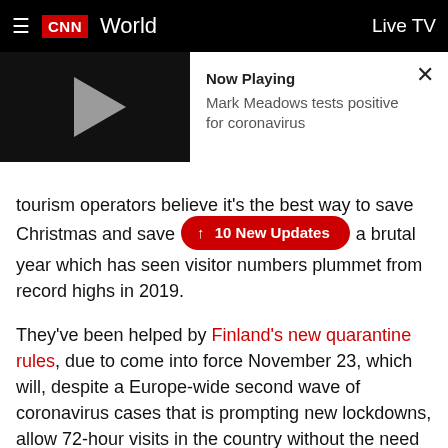CNN World — Live TV
[Figure (screenshot): Video player showing 'Now Playing: Mark Meadows tests positive for coronavirus' with play button and close (X) button]
tourism operators believe it's the best way to save Christmas and save [10 New Updates] a brutal year which has seen visitor numbers plummet from record highs in 2019.
They've been helped by Finland's new quarantine rules, due to come into force November 23, which will, despite a Europe-wide second wave of coronavirus cases that is prompting new lockdowns, allow 72-hour visits in the country without the need to quarantine.
Tourists from EU and Europe's 26-country Schengen visa area will be permitted to arrive provided they take…